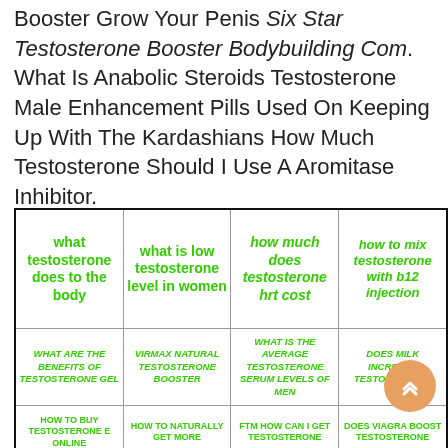Booster Grow Your Penis Six Star Testosterone Booster Bodybuilding Com. What Is Anabolic Steroids Testosterone Male Enhancement Pills Used On Keeping Up With The Kardashians How Much Testosterone Should I Use A Aromitase Inhibitor.
| what testosterone does to the body | what is low testosterone level in women | how much does testosterone hrt cost | how to mix testosterone with b12 injection |
| --- | --- | --- | --- |
| WHAT ARE THE BENEFITS OF TESTOSTERONE GEL | VIRMAX NATURAL TESTOSTERONE BOOSTER | WHAT IS THE AVERAGE TESTOSTERONE SERUM LEVELS OF MEN | DOES MILK INCREASE TESTOSTERONE |
| HOW TO BUY TESTOSTERONE E ONLINE | HOW TO NATURALLY GET MORE | FTM HOW CAN I GET TESTOSTERONE | DOES VIAGRA BOOST TESTOSTERONE |